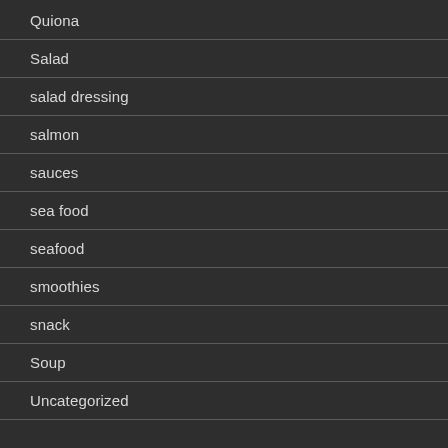Quiona
Salad
salad dressing
salmon
sauces
sea food
seafood
smoothies
snack
Soup
Uncategorized